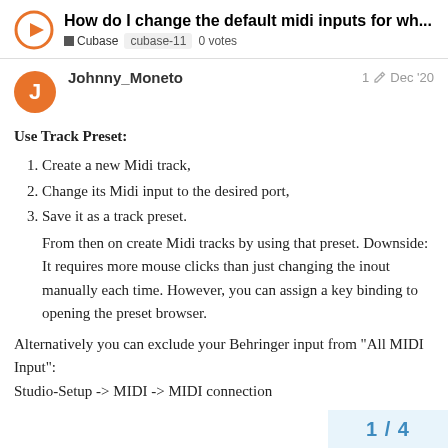How do I change the default midi inputs for wh... | Cubase | cubase-11 | 0 votes
Johnny_Moneto  1  Dec '20
Use Track Preset:
1. Create a new Midi track,
2. Change its Midi input to the desired port,
3. Save it as a track preset.
From then on create Midi tracks by using that preset. Downside: It requires more mouse clicks than just changing the inout manually each time. However, you can assign a key binding to opening the preset browser.
Alternatively you can exclude your Behringer input from "All MIDI Input": Studio-Setup -> MIDI -> MIDI connection
1 / 4